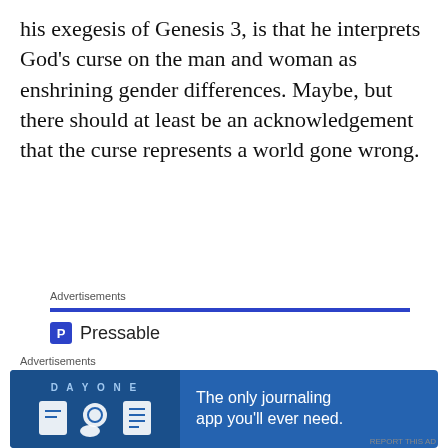his exegesis of Genesis 3, is that he interprets God's curse on the man and woman as enshrining gender differences. Maybe, but there should at least be an acknowledgement that the curse represents a world gone wrong.
Advertisements
[Figure (screenshot): Pressable advertisement banner with blue line, Pressable logo, dots, and headline 'The Platform Where WordPress Works Best']
Advertisements
[Figure (screenshot): Day One journaling app advertisement banner with icons and tagline 'The only journaling app you'll ever need.']